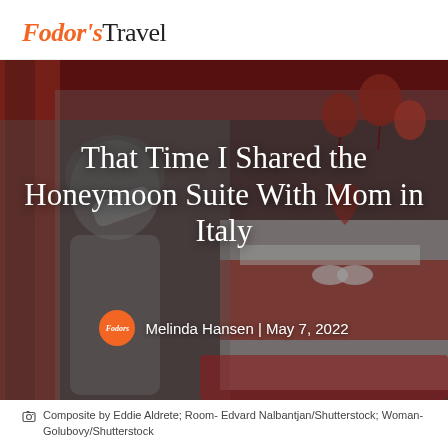Fodor's Travel
[Figure (photo): Hero image composite: grayscale woman holding her head in distress on the left, colorful red-decorated honeymoon hotel suite on the right with red balloons, heart-shaped swan towels, and red curtains.]
That Time I Shared the Honeymoon Suite With Mom in Italy
Melinda Hansen | May 7, 2022
Composite by Eddie Aldrete; Room- Edvard Nalbantjan/Shutterstock; Woman- Golubovy/Shutterstock